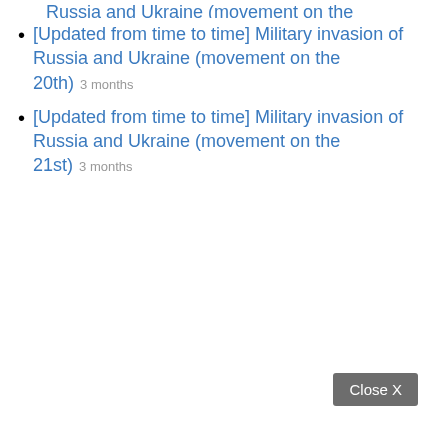[Updated from time to time] Military invasion of Russia and Ukraine (movement on the 20th) 3 months
[Updated from time to time] Military invasion of Russia and Ukraine (movement on the 21st) 3 months
Close X